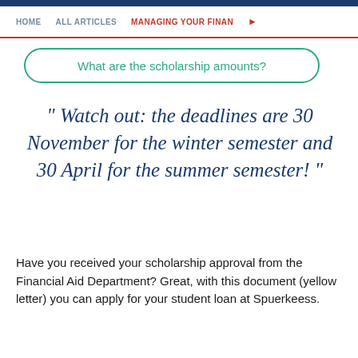HOME   ALL ARTICLES   MANAGING YOUR FINAN>
What are the scholarship amounts?
" Watch out: the deadlines are 30 November for the winter semester and 30 April for the summer semester! "
Have you received your scholarship approval from the Financial Aid Department? Great, with this document (yellow letter) you can apply for your student loan at Spuerkeess.